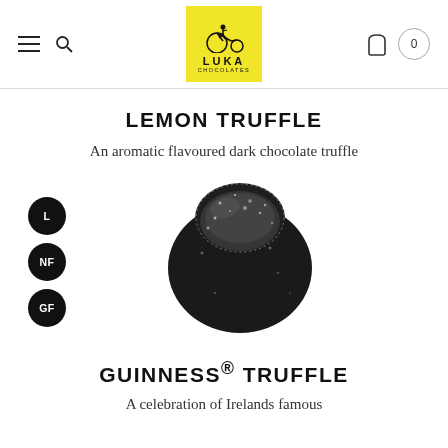LUKA CHOCOLATES — navigation header with logo, hamburger menu, search, and cart
LEMON TRUFFLE
An aromatic flavoured dark chocolate truffle
[Figure (photo): A dark chocolate truffle dusted with powdered sugar, with black circular badges labeled L, NF, GF on the left side]
GUINNESS® TRUFFLE
A celebration of Irelands famous